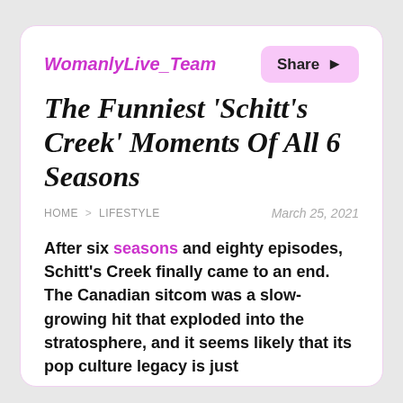WomanlyLive_Team
The Funniest 'Schitt's Creek' Moments Of All 6 Seasons
HOME > LIFESTYLE   March 25, 2021
After six seasons and eighty episodes, Schitt's Creek finally came to an end. The Canadian sitcom was a slow-growing hit that exploded into the stratosphere, and it seems likely that its pop culture legacy is just